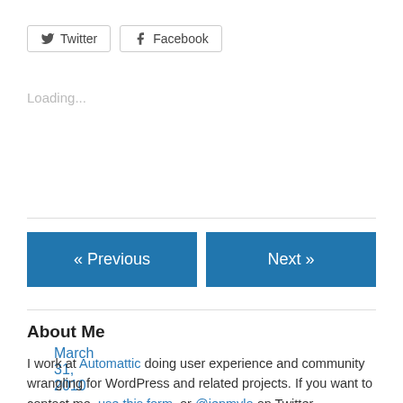[Figure (other): Twitter and Facebook share buttons rendered as outlined pill buttons with icons]
Loading...
March 31, 2010
« Previous
Next »
About Me
I work at Automattic doing user experience and community wrangling for WordPress and related projects. If you want to contact me, use this form, or @jenmylo on Twitter.